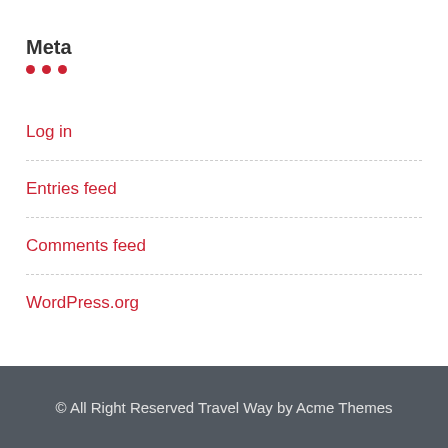Meta
Log in
Entries feed
Comments feed
WordPress.org
© All Right Reserved Travel Way by Acme Themes